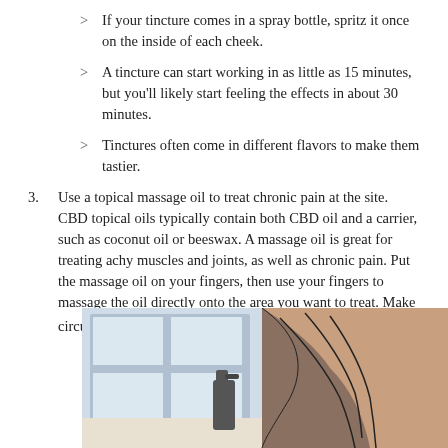> If your tincture comes in a spray bottle, spritz it once on the inside of each cheek.
> A tincture can start working in as little as 15 minutes, but you'll likely start feeling the effects in about 30 minutes.
> Tinctures often come in different flavors to make them tastier.
3. Use a topical massage oil to treat chronic pain at the site. CBD topical oils typically contain both CBD oil and a carrier, such as coconut oil or beeswax. A massage oil is great for treating achy muscles and joints, as well as chronic pain. Put the massage oil on your fingers, then use your fingers to massage the oil directly onto the area you want to treat. Make circular motions on your skin as you apply the oil.[4]
[Figure (illustration): Two-panel illustration: left panel shows a spray bottle on a table near a window, right panel shows hands massaging skin.]